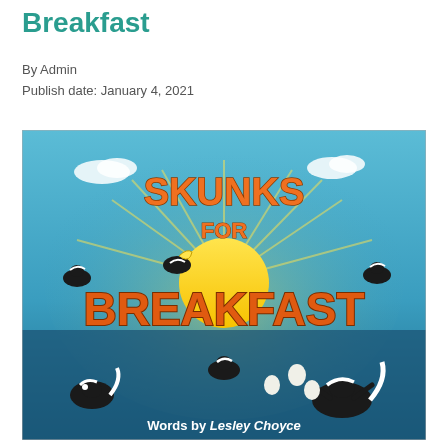Breakfast
By Admin
Publish date: January 4, 2021
[Figure (illustration): Book cover illustration for 'Skunks for Breakfast' by Lesley Choyce. Features cartoon skunks playing and juggling eggs against a teal/blue background with a large yellow sun. Bold orange 3D lettering spells out 'SKUNKS FOR BREAKFAST'. At bottom it reads 'Words by Lesley Choyce'.]